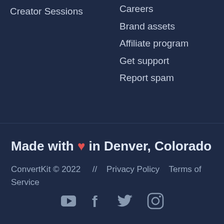Creator Sessions
Careers
Brand assets
Affiliate program
Get support
Report spam
Made with ❤ in Denver, Colorado
ConvertKit © 2022  //  Privacy Policy  Terms of Service
[Figure (other): Social media icons: YouTube, Facebook, Twitter, Instagram]